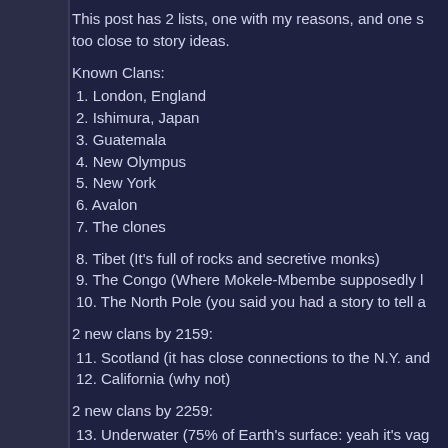This post has 2 lists, one with my reasons, and one s… too close to story ideas.
Known Clans:
1. London, England
2. Ishimura, Japan
3. Guatemala
4. New Olympus
5. New York
6. Avalon
7. The clones
8. Tibet (It's full of rocks and secretive monks)
9. The Congo (Where Mokele-Mbembe supposedly l…
10. The North Pole (you said you had a story to tell a…
2 new clans by 2159:
11. Scotland (it has close connections to the N.Y. and…
12. California (why not)
2 new clans by 2259:
13. Underwater (75% of Earth's surface: yeah it's vag…
14. BABYLON 5!!! (Our last, best hope … for Garoy…